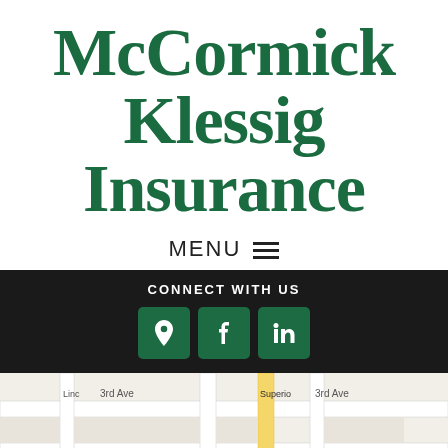McCormick Klessig Insurance
MENU ☰
CONNECT WITH US
[Figure (map): Street map showing 3rd Ave area with Superior street visible]
Erie Insurance - One of America's Best Insurance Companies